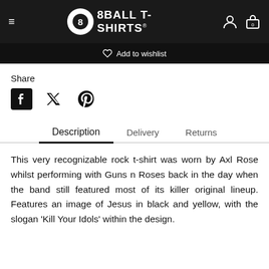[Figure (screenshot): 8Ball T-Shirts website navigation bar with hamburger menu, logo (8-ball icon with text '8BALL T-SHIRTS'), user account icon, and shopping bag icon with 0]
♡ Add to wishlist
Share
[Figure (other): Social media share icons: Facebook, Twitter, Pinterest]
Description   Delivery   Returns
This very recognizable rock t-shirt was worn by Axl Rose whilst performing with Guns n Roses back in the day when the band still featured most of its killer original lineup. Features an image of Jesus in black and yellow, with the slogan 'Kill Your Idols' within the design.